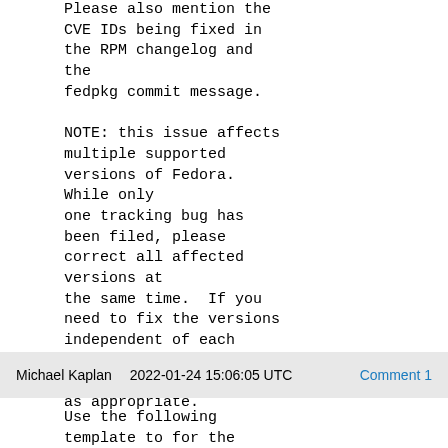Please also mention the CVE IDs being fixed in the RPM changelog and the fedpkg commit message.

NOTE: this issue affects multiple supported versions of Fedora. While only one tracking bug has been filed, please correct all affected versions at the same time.  If you need to fix the versions independent of each other, you may clone this bug as appropriate.
Michael Kaplan    2022-01-24 15:06:05 UTC    Comment 1
Use the following template to for the 'fedpkg update' request to submit an